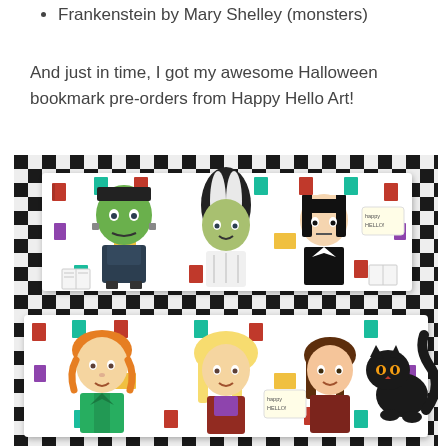Frankenstein by Mary Shelley (monsters)
And just in time, I got my awesome Halloween bookmark pre-orders from Happy Hello Art!
[Figure (photo): Photograph of two Halloween-themed bookmarks from Happy Hello Art placed on a black and white checkered tablecloth. The top bookmark features cute chibi-style characters: Frankenstein's monster, Bride of Frankenstein, and Wednesday Addams, surrounded by colorful small book illustrations. The bottom bookmark features the three Sanderson Sisters from Hocus Pocus and a black cat, also surrounded by colorful small book illustrations.]